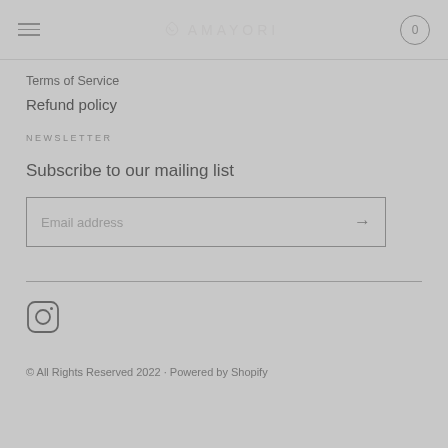AMAYORI — 0
Terms of Service
Refund policy
NEWSLETTER
Subscribe to our mailing list
Email address
[Figure (other): Instagram social media icon — rounded square with circle inside]
© All Rights Reserved 2022 · Powered by Shopify